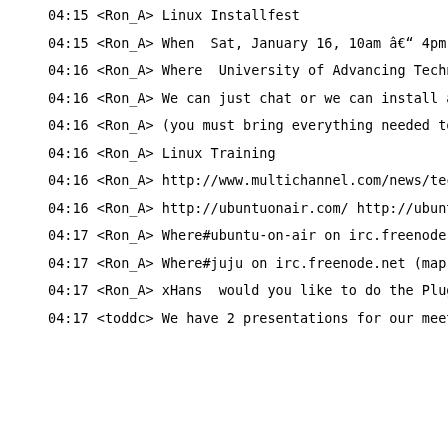04:15 <Ron_A> Linux Installfest
04:15 <Ron_A> When  Sat, January 16, 10am â€" 4pm
04:16 <Ron_A> Where  University of Advancing Techno...
04:16 <Ron_A> We can just chat or we can install al...
04:16 <Ron_A> (you must bring everything needed to ...
04:16 <Ron_A> Linux Training
04:16 <Ron_A> http://www.multichannel.com/news/tech...
04:16 <Ron_A> http://ubuntuonair.com/ http://ubuntu...
04:17 <Ron_A> Where#ubuntu-on-air on irc.freenode.ne...
04:17 <Ron_A> Where#juju on irc.freenode.net (map) ...
04:17 <Ron_A> xHans  would you like to do the Plug ...
04:17 <toddc> We have 2 presentations for our meeti...